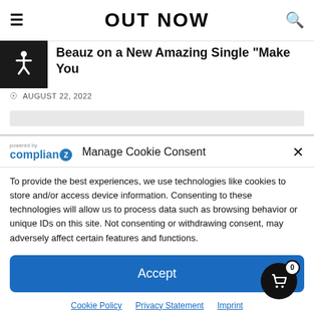OUT NOW
Beauz on a New Amazing Single "Make You
AUGUST 22, 2022
[Figure (screenshot): Cookie consent dialog with Complianz branding, Accept button, and links to Cookie Policy, Privacy Statement, and Imprint]
To provide the best experiences, we use technologies like cookies to store and/or access device information. Consenting to these technologies will allow us to process data such as browsing behavior or unique IDs on this site. Not consenting or withdrawing consent, may adversely affect certain features and functions.